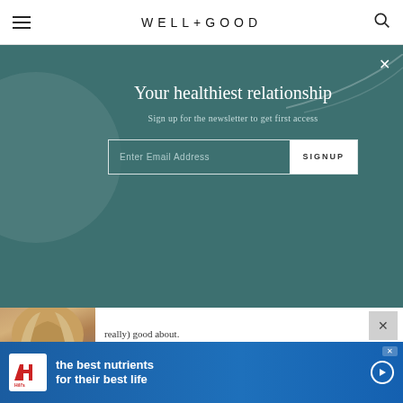WELL+GOOD
Your healthiest relationship
Sign up for the newsletter to get first access
Enter Email Address  SIGNUP
really) good about.
5   1   1
Shop Now
[Figure (photo): Woman with curly blonde hair wearing a grey top]
[Figure (infographic): Hill's pet nutrition advertisement: the best nutrients for their best life]
the best nutrients for their best life